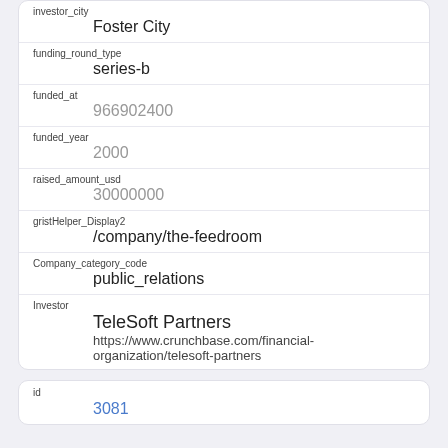| Field | Value |
| --- | --- |
| investor_city | Foster City |
| funding_round_type | series-b |
| funded_at | 966902400 |
| funded_year | 2000 |
| raised_amount_usd | 30000000 |
| gristHelper_Display2 | /company/the-feedroom |
| Company_category_code | public_relations |
| Investor | TeleSoft Partners
https://www.crunchbase.com/financial-organization/telesoft-partners |
| Field | Value |
| --- | --- |
| id | 3081 |